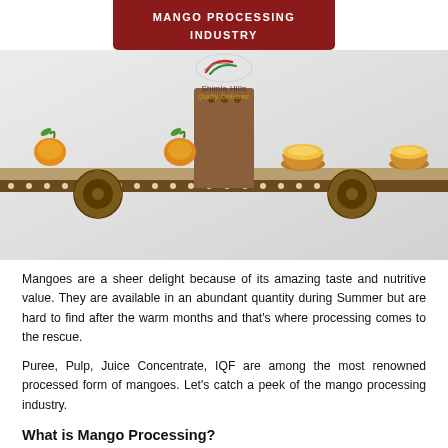MANGO PROCESSING INDUSTRY
[Figure (infographic): Illustration of a mango processing conveyor belt with whole mangoes on left side, a processing machine in the center, and bowls of processed mango on the right side. Shimla Hills logo with tagline 'Quality. Delivered.' above the conveyor.]
Mangoes are a sheer delight because of its amazing taste and nutritive value. They are available in an abundant quantity during Summer but are hard to find after the warm months and that's where processing comes to the rescue.
Puree, Pulp, Juice Concentrate, IQF are among the most renowned processed form of mangoes. Let's catch a peek of the mango processing industry.
What is Mango Processing?